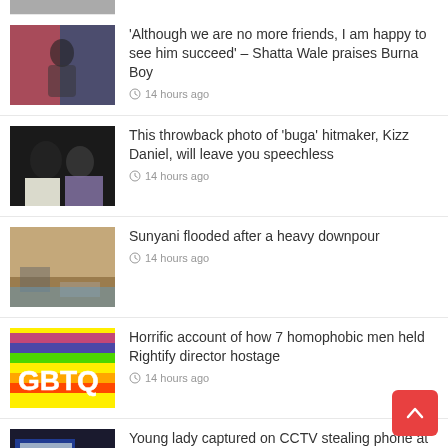[Figure (photo): Partial thumbnail visible at top of page]
'Although we are no more friends, I am happy to see him succeed' – Shatta Wale praises Burna Boy
14 hours ago
This throwback photo of 'buga' hitmaker, Kizz Daniel, will leave you speechless
14 hours ago
Sunyani flooded after a heavy downpour
14 hours ago
Horrific account of how 7 homophobic men held Rightify director hostage
14 hours ago
Young lady captured on CCTV stealing phone at an office reception
14 hours ago
Allotey Jacobs discloses why he's hard on 'striker' Ken...